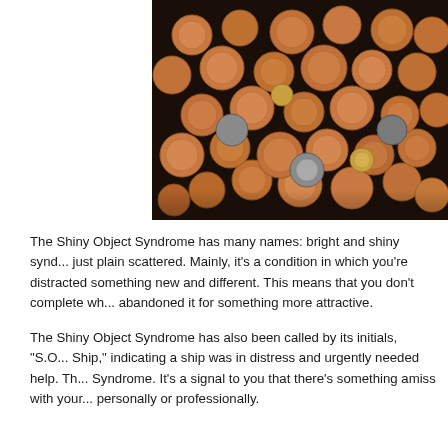[Figure (photo): A large pile of copper pennies and coins spread across a dark surface, shot from above.]
The Shiny Object Syndrome has many names: bright and shiny synd... just plain scattered. Mainly, it's a condition in which you're distracted something new and different. This means that you don't complete wh... abandoned it for something more attractive.
The Shiny Object Syndrome has also been called by its initials, "S.O... Ship," indicating a ship was in distress and urgently needed help. Th... Syndrome. It's a signal to you that there's something amiss with your... personally or professionally.